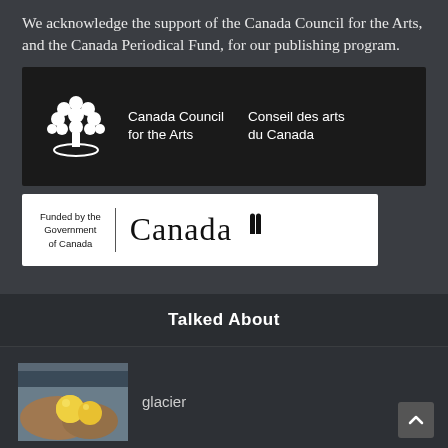We acknowledge the support of the Canada Council for the Arts, and the Canada Periodical Fund, for our publishing program.
[Figure (logo): Canada Council for the Arts / Conseil des arts du Canada logo — white tree icon with bilingual text on black background]
[Figure (logo): Funded by the Government of Canada / Canada wordmark logo on white background]
Talked About
[Figure (photo): Hands holding yellow round fruits (possibly plums or small apples)]
glacier